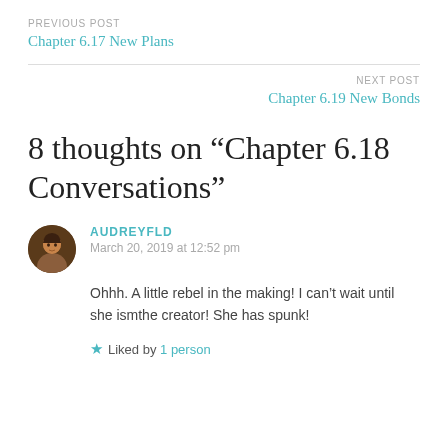PREVIOUS POST
Chapter 6.17 New Plans
NEXT POST
Chapter 6.19 New Bonds
8 thoughts on “Chapter 6.18 Conversations”
AUDREYFLD
March 20, 2019 at 12:52 pm
Ohhh. A little rebel in the making! I can’t wait until she ismthe creator! She has spunk!
Liked by 1 person